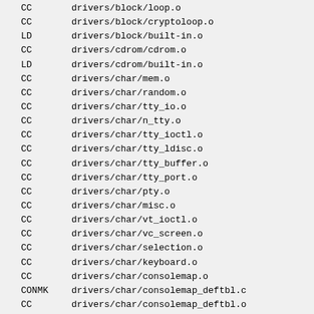CC      drivers/block/loop.o
CC      drivers/block/cryptoloop.o
LD      drivers/block/built-in.o
CC      drivers/cdrom/cdrom.o
LD      drivers/cdrom/built-in.o
CC      drivers/char/mem.o
CC      drivers/char/random.o
CC      drivers/char/tty_io.o
CC      drivers/char/n_tty.o
CC      drivers/char/tty_ioctl.o
CC      drivers/char/tty_ldisc.o
CC      drivers/char/tty_buffer.o
CC      drivers/char/tty_port.o
CC      drivers/char/pty.o
CC      drivers/char/misc.o
CC      drivers/char/vt_ioctl.o
CC      drivers/char/vc_screen.o
CC      drivers/char/selection.o
CC      drivers/char/keyboard.o
CC      drivers/char/consolemap.o
CONMK   drivers/char/consolemap_deftbl.c
CC      drivers/char/consolemap_deftbl.o
CC      drivers/char/vt.o
SHIPPED drivers/char/defkeymap.c
CC      drivers/char/defkeymap.o
CC      drivers/char/sysrq.o
LD      drivers/char/pcmcia/ipwireless/built-in.o